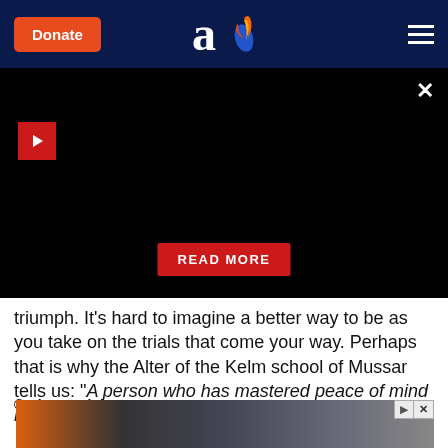Donate | [Aish logo] | [menu]
[Figure (screenshot): Black video player area with red play button in top-left, close X button top-right, and red READ MORE button centered near bottom]
triumph. It's hard to imagine a better way to be as you take on the trials that come your way. Perhaps that is why the Alter of the Kelm school of Mussar tells us: "A person who has mastered peace of mind has gained everything."
© Alan Morinis
[Figure (photo): Advertisement image showing a port/dock scene with vehicles and shipping containers]